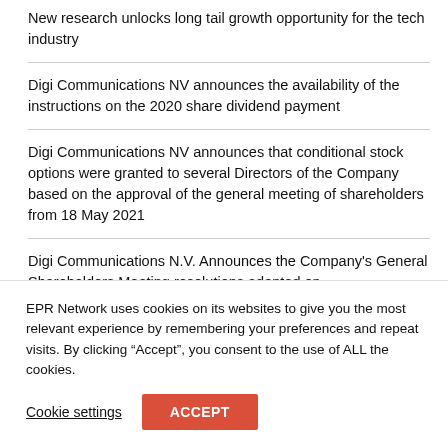New research unlocks long tail growth opportunity for the tech industry
Digi Communications NV announces the availability of the instructions on the 2020 share dividend payment
Digi Communications NV announces that conditional stock options were granted to several Directors of the Company based on the approval of the general meeting of shareholders from 18 May 2021
Digi Communications N.V. Announces the Company's General Shareholders Meeting resolutions adopted on
EPR Network uses cookies on its websites to give you the most relevant experience by remembering your preferences and repeat visits. By clicking “Accept”, you consent to the use of ALL the cookies.
Cookie settings
ACCEPT